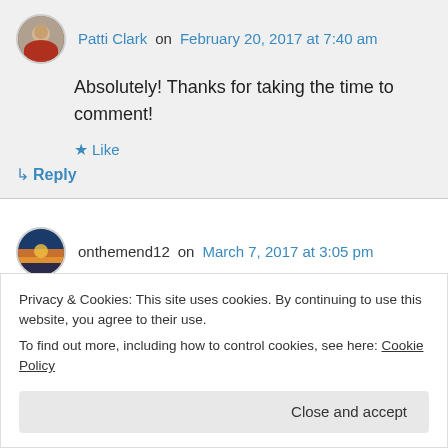Patti Clark on February 20, 2017 at 7:40 am
Absolutely! Thanks for taking the time to comment!
★ Like
↳ Reply
onthemend12 on March 7, 2017 at 3:05 pm
“I want women to know that it’s safe to trust their
Privacy & Cookies: This site uses cookies. By continuing to use this website, you agree to their use.
To find out more, including how to control cookies, see here: Cookie Policy
Close and accept